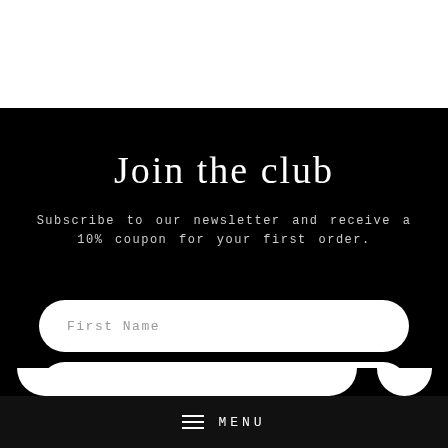Join the club
Subscribe to our newsletter and receive a 10% coupon for your first order.
[Figure (screenshot): Form input field with placeholder text 'First Name', white pill-shaped input box on black background]
[Figure (screenshot): Form input field with placeholder text 'Email', white pill-shaped input box on black background]
MENU